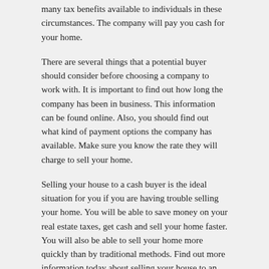many tax benefits available to individuals in these circumstances. The company will pay you cash for your home.
There are several things that a potential buyer should consider before choosing a company to work with. It is important to find out how long the company has been in business. This information can be found online. Also, you should find out what kind of payment options the company has available. Make sure you know the rate they will charge to sell your home.
Selling your house to a cash buyer is the ideal situation for you if you are having trouble selling your home. You will be able to save money on your real estate taxes, get cash and sell your home faster. You will also be able to sell your home more quickly than by traditional methods. Find out more information today about selling your house to an buyer.
Posted in Real Estate | Tagged buy and sell, buy houses, sell houses fast, sell your houses, we buy houses